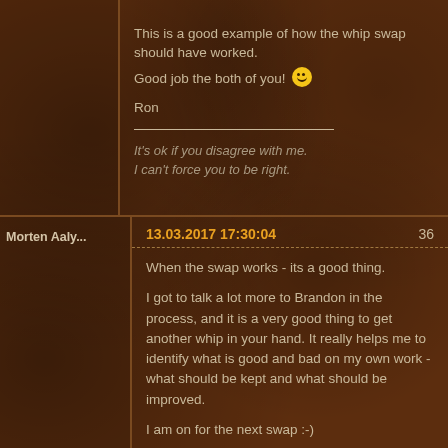This is a good example of how the whip swap should have worked.
Good job the both of you! :)

Ron
It's ok if you disagree with me.
I can't force you to be right.
Morten Aaly...
13.03.2017 17:30:04
36
When the swap works - its a good thing.

I got to talk a lot more to Brandon in the process, and it is a very good thing to get another whip in your hand. It really helps me to identify what is good and bad on my own work - what should be kept and what should be improved.

I am on for the next swap :-)